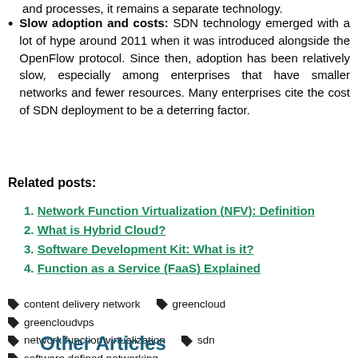and processes, it remains a separate technology.
Slow adoption and costs: SDN technology emerged with a lot of hype around 2011 when it was introduced alongside the OpenFlow protocol. Since then, adoption has been relatively slow, especially among enterprises that have smaller networks and fewer resources. Many enterprises cite the cost of SDN deployment to be a deterring factor.
Related posts:
Network Function Virtualization (NFV): Definition
What is Hybrid Cloud?
Software Development Kit: What is it?
Function as a Service (FaaS) Explained
content delivery network  greencloud  greencloudvps  network function virtualization  sdn  software defined networking
Other Articles